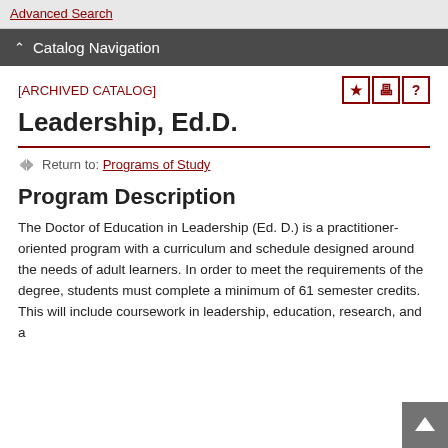Advanced Search
Catalog Navigation
[ARCHIVED CATALOG]
Leadership, Ed.D.
Return to: Programs of Study
Program Description
The Doctor of Education in Leadership (Ed. D.) is a practitioner-oriented program with a curriculum and schedule designed around the needs of adult learners. In order to meet the requirements of the degree, students must complete a minimum of 61 semester credits. This will include coursework in leadership, education, research, and a